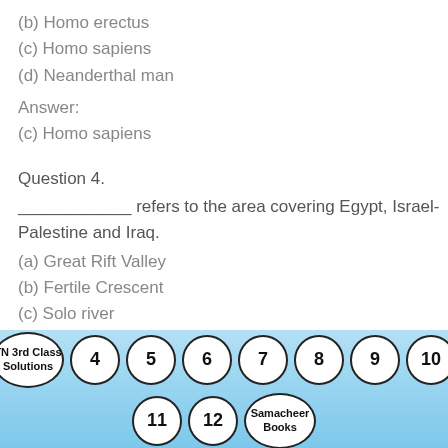(b) Homo erectus
(c) Homo sapiens
(d) Neanderthal man
Answer:
(c) Homo sapiens
Question 4.
____________ refers to the area covering Egypt, Israel-Palestine and Iraq.
(a) Great Rift Valley
(b) Fertile Crescent
(c) Solo river
(d) Neander Valley
TN 3rd Class Solutions | 4 | 5 | 6 | 7 | 8 | 9 | 10 | 11 | 12 | Samacheer Books